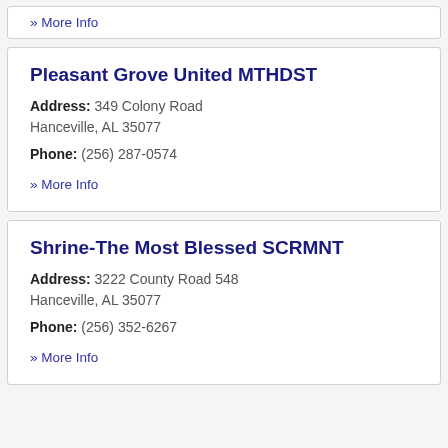» More Info
Pleasant Grove United MTHDST
Address: 349 Colony Road Hanceville, AL 35077
Phone: (256) 287-0574
» More Info
Shrine-The Most Blessed SCRMNT
Address: 3222 County Road 548 Hanceville, AL 35077
Phone: (256) 352-6267
» More Info